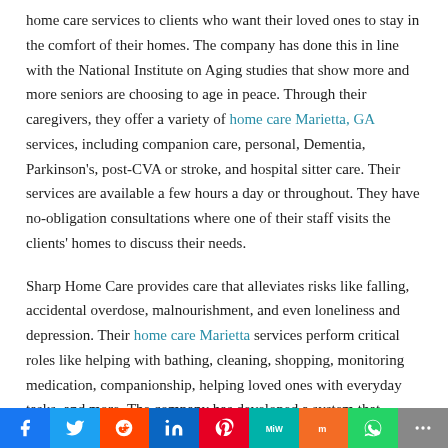home care services to clients who want their loved ones to stay in the comfort of their homes. The company has done this in line with the National Institute on Aging studies that show more and more seniors are choosing to age in peace. Through their caregivers, they offer a variety of home care Marietta, GA services, including companion care, personal, Dementia, Parkinson's, post-CVA or stroke, and hospital sitter care. Their services are available a few hours a day or throughout. They have no-obligation consultations where one of their staff visits the clients' homes to discuss their needs.
Sharp Home Care provides care that alleviates risks like falling, accidental overdose, malnourishment, and even loneliness and depression. Their home care Marietta services perform critical roles like helping with bathing, cleaning, shopping, monitoring medication, companionship, helping loved ones with everyday tasks, and more. The company has developed a system that matches each client with a caregiver that can meet their needs. They have one-on-one care and